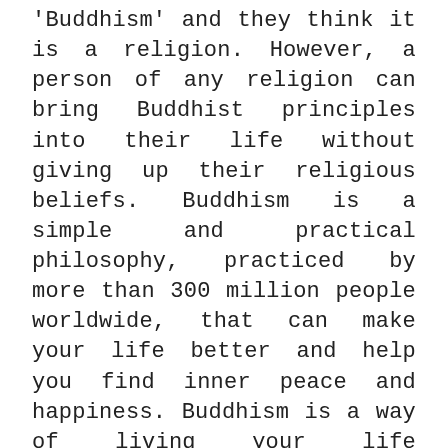'Buddhism' and they think it is a religion. However, a person of any religion can bring Buddhist principles into their life without giving up their religious beliefs. Buddhism is a simple and practical philosophy, practiced by more than 300 million people worldwide, that can make your life better and help you find inner peace and happiness. Buddhism is a way of living your life following a path of spiritual development that leads you to the truth of reality. 'We are shaped by our thoughts; we become what we think. When the mind is pure, joy follows like a shadow that never leaves.' - Buddha Nowadays, Buddhism is becoming increasingly popular, thanks to the positive benefits it can bring to those who choose to practice it. By following the principles of Buddhism and by practicing mindfulness meditation you can reduce anxiety and stress